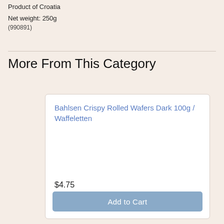Product of Croatia
Net weight: 250g
(990891)
More From This Category
Bahlsen Crispy Rolled Wafers Dark 100g / Waffeletten
$4.75
Add to Cart